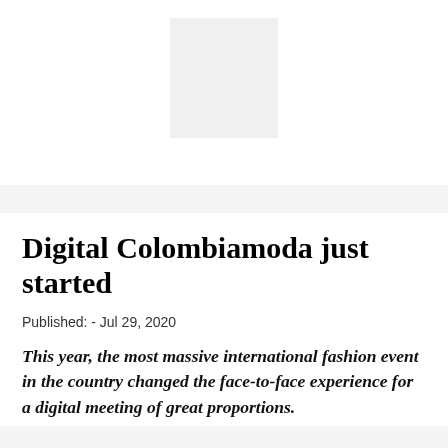[Figure (other): Placeholder image box, light gray rectangle centered at top of page]
Digital Colombiamoda just started
Published: - Jul 29, 2020
This year, the most massive international fashion event in the country changed the face-to-face experience for a digital meeting of great proportions.